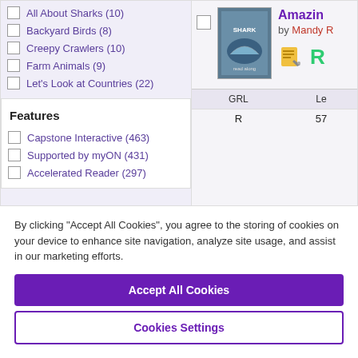All About Sharks (10)
Backyard Birds (8)
Creepy Crawlers (10)
Farm Animals (9)
Let's Look at Countries (22)
Features
Capstone Interactive (463)
Supported by myON (431)
Accelerated Reader (297)
[Figure (screenshot): Book card showing a book cover for a shark-related book, with title starting 'Amazin...' by Mandy R, notepad and R icons, and a table showing GRL: R and Le: 57]
| GRL | Le |
| --- | --- |
| R | 57 |
By clicking “Accept All Cookies”, you agree to the storing of cookies on your device to enhance site navigation, analyze site usage, and assist in our marketing efforts.
Accept All Cookies
Cookies Settings